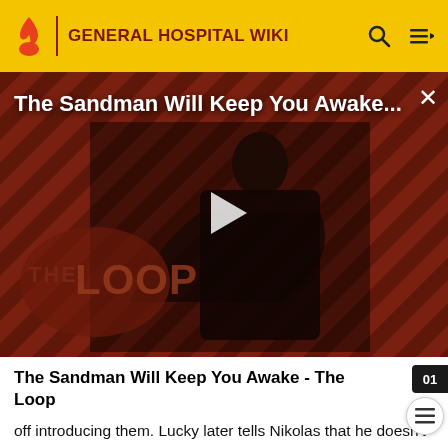GENERAL HOSPITAL WIKI
[Figure (screenshot): Video thumbnail for 'The Sandman Will Keep You Awake...' showing a dark-cloaked figure against a red and black diagonal stripe background with 'THE LOOP' text overlay and a play button in the center.]
The Sandman Will Keep You Awake - The Loop
off introducing them. Lucky later tells Nikolas that he doesn't spend enough time with his son, worrying about Rebecca more and leaving Spencer with a nanny. Nikolas